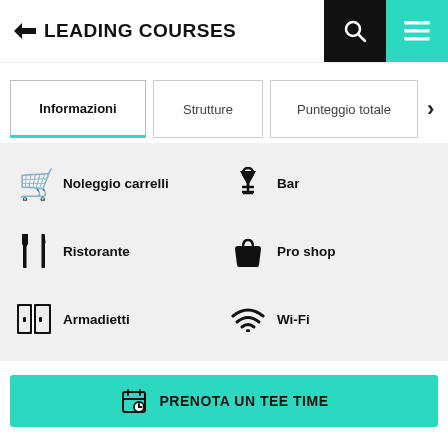[Figure (logo): Leading Courses logo with flag icon and bold text]
Informazioni
Strutture
Punteggio totale
Noleggio carrelli
Bar
Ristorante
Pro shop
Armadietti
Wi-Fi
PRENOTA UN TEE TIME